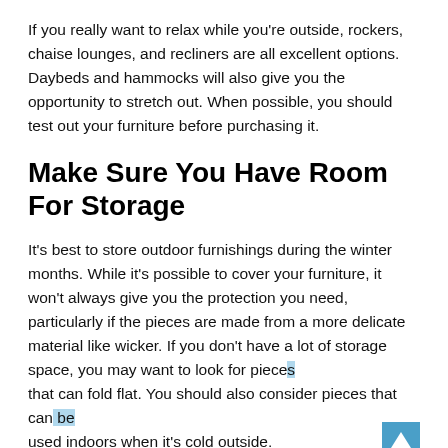If you really want to relax while you're outside, rockers, chaise lounges, and recliners are all excellent options. Daybeds and hammocks will also give you the opportunity to stretch out. When possible, you should test out your furniture before purchasing it.
Make Sure You Have Room For Storage
It's best to store outdoor furnishings during the winter months. While it's possible to cover your furniture, it won't always give you the protection you need, particularly if the pieces are made from a more delicate material like wicker. If you don't have a lot of storage space, you may want to look for pieces that can fold flat. You should also consider pieces that can be used indoors when it's cold outside.